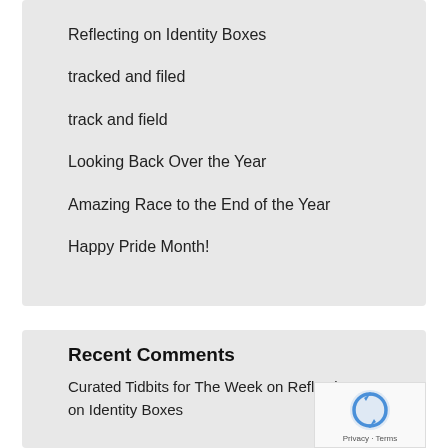Reflecting on Identity Boxes
tracked and filed
track and field
Looking Back Over the Year
Amazing Race to the End of the Year
Happy Pride Month!
Recent Comments
Curated Tidbits for The Week on Reflecting on Identity Boxes